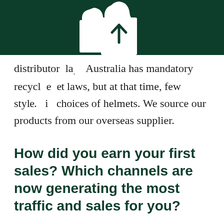[Figure (logo): White shopping bag logo/icon on dark green background header bar]
distributor la... Australia has mandatory recycl e et laws, but at that time, few style... i choices of helmets. We source our products from our overseas supplier.
How did you earn your first sales? Which channels are now generating the most traffic and sales for you?
We decided to drive sales through generating